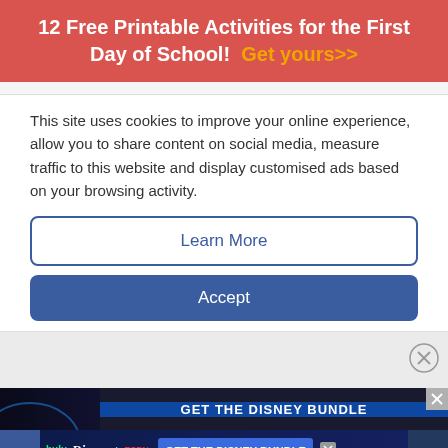12 Free Printable Activities for the First Day of School! Get yours>>
This site uses cookies to improve your online experience, allow you to share content on social media, measure traffic to this website and display customised ads based on your browsing activity.
Learn More
Accept
[Figure (screenshot): Disney Bundle advertisement banner showing Hulu, Disney+, and ESPN+ logos with 'GET THE DISNEY BUNDLE' button]
[Figure (screenshot): Social media and email icon strip at bottom of page with Facebook and mail icons]